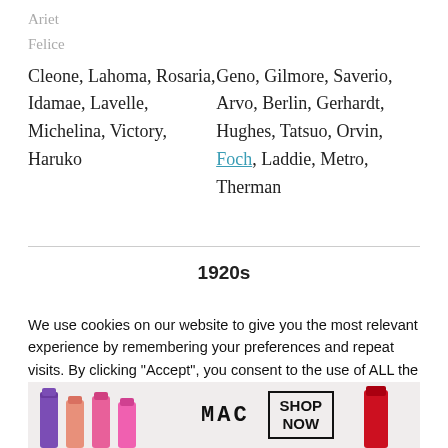Ariet... [partial/obscured name row]
Felice... [partial/obscured name row]
Left column: Cleone, Lahoma, Rosaria, Idamae, Lavelle, Michelina, Victory, Haruko; Right column: Geno, Gilmore, Saverio, Arvo, Berlin, Gerhardt, Hughes, Tatsuo, Orvin, Foch, Laddie, Metro, Therman
1920s
We use cookies on our website to give you the most relevant experience by remembering your preferences and repeat visits. By clicking “Accept”, you consent to the use of ALL the cookies.
Do not sell my personal information.
[Figure (screenshot): Cookie settings bar with input box, green button, and CLOSE button]
[Figure (photo): MAC cosmetics advertisement banner with lipsticks, MAC logo, SHOP NOW box, and red lipstick]